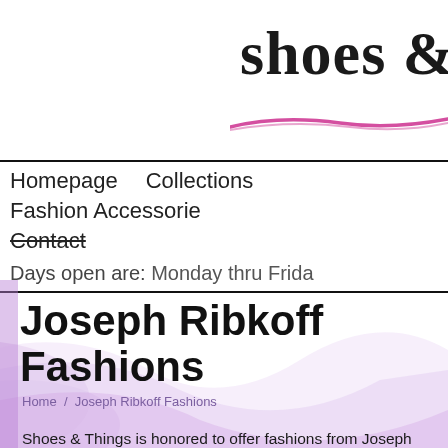[Figure (logo): Shoes & Things logo with cursive/comic style text and pink underline swoosh, cropped at right edge]
Homepage   Collections   Fashion Accessories   Contact
Days open are: Monday thru Friday
Joseph Ribkoff Fashions
Home  /  Joseph Ribkoff Fashions
Shoes & Things is honored to offer fashions from Joseph Ribkoff, one of Canada's preeminent designers and winner of the Draper's Womenswear Brand of the
Joseph Ribkoff dresses, jackets, and essentials reflect chic taste... fashion at its best. The clothes are of high quality, showcasing in